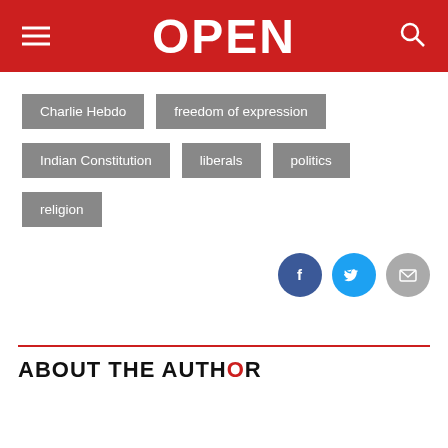OPEN
Charlie Hebdo
freedom of expression
Indian Constitution
liberals
politics
religion
[Figure (infographic): Social sharing icons: Facebook (dark blue circle), Twitter (light blue circle), Email (grey circle)]
ABOUT THE AUTHOR